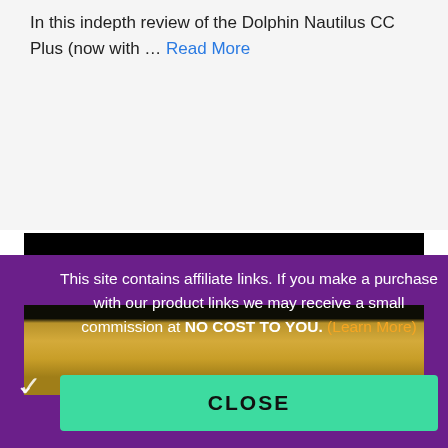In this indepth review of the Dolphin Nautilus CC Plus (now with … Read More
⚡ POWERFUL GENERATORS
[Figure (photo): Partial image of a pool cleaner or outdoor scene with dark and golden-yellow tones]
This site contains affiliate links. If you make a purchase with our product links we may receive a small commission at NO COST TO YOU. (Learn More)
CLOSE